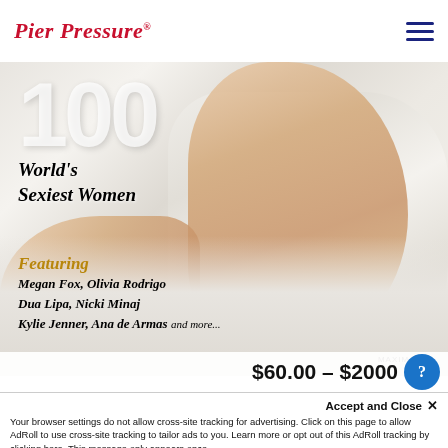Pier Pressure®
[Figure (photo): Magazine cover showing '100 World's Sexiest Women' Maxim-style cover with a blonde woman in a white shirt on white bedding. Text overlay includes 'Featuring Megan Fox, Olivia Rodrigo, Dua Lipa, Nicki Minaj, Kylie Jenner, Ana de Armas and more...' and 'maxim.com' watermark.]
$60.00 - $2000
Accept and Close ✕
Your browser settings do not allow cross-site tracking for advertising. Click on this page to allow AdRoll to use cross-site tracking to tailor ads to you. Learn more or opt out of this AdRoll tracking by clicking here. This message only appears once.